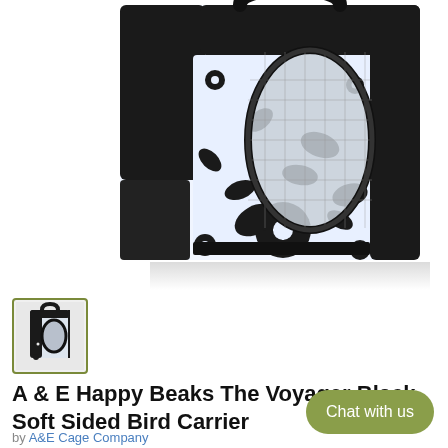[Figure (photo): Bird carrier bag with black and white floral pattern, mesh window opening visible, rectangular soft-sided carrier photographed at an angle on white background with slight reflection]
[Figure (photo): Small thumbnail image of the same black and white floral bird carrier, front view]
A & E Happy Beaks The Voyager Black Soft Sided Bird Carrier
by A&E Cage Company